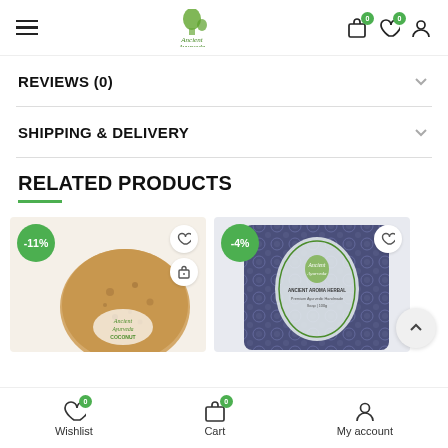Ancient Ayurveda — navigation header with hamburger menu, logo, cart (0), wishlist (0), account icons
REVIEWS (0)
SHIPPING & DELIVERY
RELATED PRODUCTS
[Figure (photo): Product card with -11% discount badge showing a round coconut soap/scrub bar, with wishlist heart and cart icons]
[Figure (photo): Product card with -4% discount badge showing a dark ornate patterned soap block with Ancient Ayurveda label]
Wishlist (0)   Cart (0)   My account